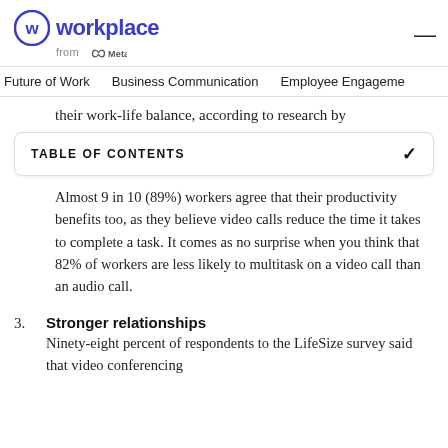Workplace from Meta
Future of Work   Business Communication   Employee Engagement
their work-life balance, according to research by
TABLE OF CONTENTS
Almost 9 in 10 (89%) workers agree that their productivity benefits too, as they believe video calls reduce the time it takes to complete a task. It comes as no surprise when you think that 82% of workers are less likely to multitask on a video call than an audio call.
3. Stronger relationships
Ninety-eight percent of respondents to the LifeSize survey said that video conferencing